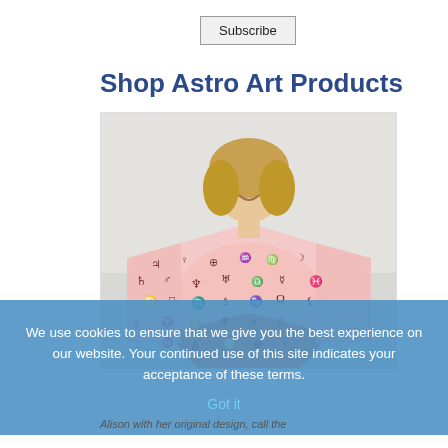Subscribe
Shop Astro Art Products
[Figure (photo): A woman holding up a pink blanket/scarf with astrological symbols printed on it, displayed against a white background.]
We use cookies to ensure that we give you the best experience on our website. Your continued use of this site indicates your acceptance of these terms.
Got it
Alison with her original design, call the